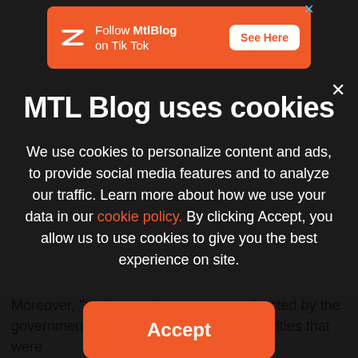[Figure (screenshot): Orange advertisement banner for MtlBlog TikTok with logo, text 'Follow MtlBlog on Tik Tok', and 'See Here' button]
MTL Blog uses cookies
We use cookies to personalize content and ads, to provide social media features and to analyze our traffic. Learn more about how we use your data in our cookie policy. By clicking Accept, you allow us to use cookies to give you the best experience on site.
Accept
Moreover, "doctors and nurses were directed by the government to offload some medical activities that were